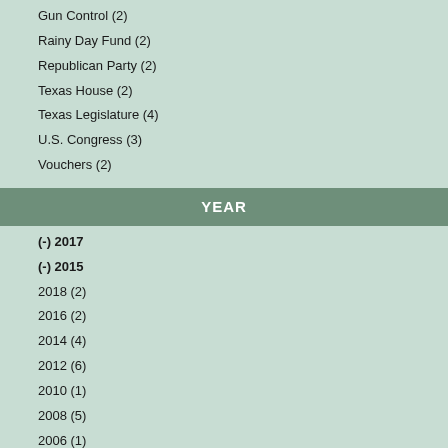Gun Control (2)
Rainy Day Fund (2)
Republican Party (2)
Texas House (2)
Texas Legislature (4)
U.S. Congress (3)
Vouchers (2)
YEAR
(-) 2017
(-) 2015
2018 (2)
2016 (2)
2014 (4)
2012 (6)
2010 (1)
2008 (5)
2006 (1)
2004 (6)